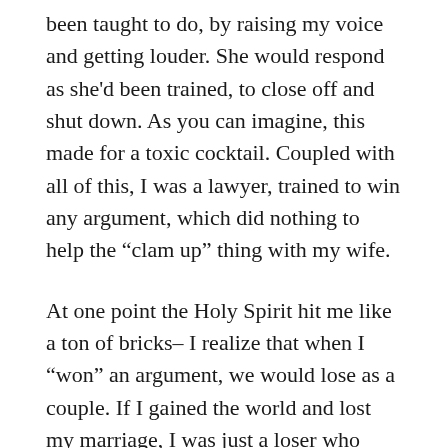been taught to do, by raising my voice and getting louder. She would respond as she'd been trained, to close off and shut down. As you can imagine, this made for a toxic cocktail. Coupled with all of this, I was a lawyer, trained to win any argument, which did nothing to help the “clam up” thing with my wife.
At one point the Holy Spirit hit me like a ton of bricks– I realize that when I “won” an argument, we would lose as a couple. If I gained the world and lost my marriage, I was just a loser who could argue well. I realized that leading out in our marriage meant leading in conflict resolution, in seeking forgiveness, and in patiently trying to draw her out. Over the years,